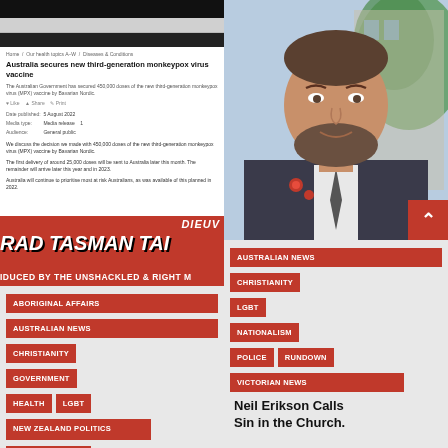[Figure (screenshot): Screenshot of Australian Government health website showing article: 'Australia secures new third-generation monkeypox virus vaccine']
[Figure (photo): Portrait photo of a bearded man in a dark suit with red flowers/pins, smiling, with green foliage and building visible in the background]
ABORIGINAL AFFAIRS
AUSTRALIAN NEWS
CHRISTIANITY
GOVERNMENT
HEALTH
LGBT
NEW ZEALAND POLITICS
PAULINE HANSON
AUSTRALIAN NEWS
CHRISTIANITY
LGBT
NATIONALISM
POLICE
RUNDOWN
VICTORIAN NEWS
Neil Erikson Calls Sin in the Church.